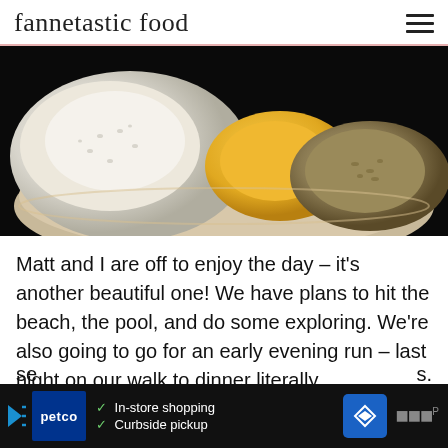fannetastic food
[Figure (photo): Close-up photo of food items in a container — white rice, a yellow egg, and a grain/seed mixture, served in what appears to be a paper or cardboard tray, on a dark background.]
Matt and I are off to enjoy the day – it's another beautiful one! We have plans to hit the beach, the pool, and do some exploring. We're also going to go for an early evening run – last night on our walk to dinner literally EVERYONE we saw was a runner/jogger/walker! It was crazy, I've never se...s. ey...eat the
[Figure (screenshot): Petco advertisement banner showing 'In-store shopping' and 'Curbside pickup' checkmarks, with Petco logo and a blue diamond direction sign icon.]